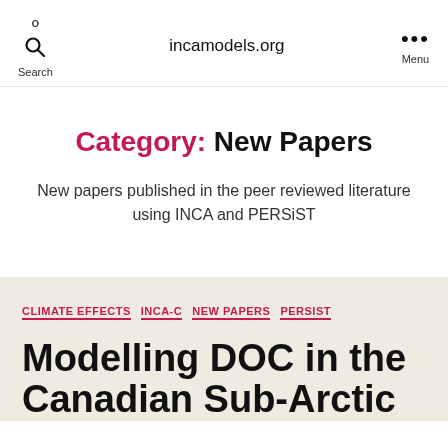incamodels.org
Category: New Papers
New papers published in the peer reviewed literature using INCA and PERSiST
CLIMATE EFFECTS   INCA-C   NEW PAPERS   PERSIST
Modelling DOC in the Canadian Sub-Arctic